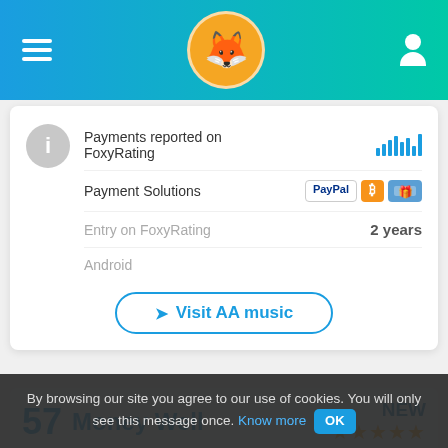FoxyRating header with navigation
Payments reported on FoxyRating
Payment Solutions
Entry on FoxyRating | 2 years
Android
Visit AA music
[Figure (screenshot): Partial listing card showing score 57, Money Well, NEW badge, and star rating]
By browsing our site you agree to our use of cookies. You will only see this message once. Know more OK